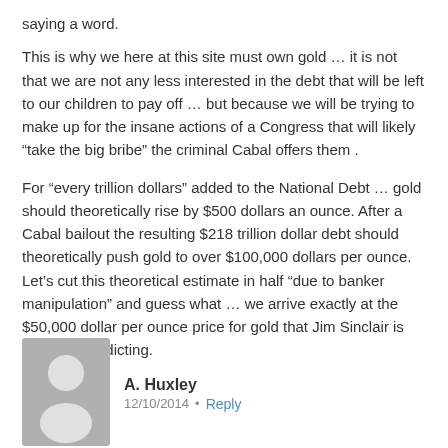saying a word.
This is why we here at this site must own gold … it is not that we are not any less interested in the debt that will be left to our children to pay off … but because we will be trying to make up for the insane actions of a Congress that will likely “take the big bribe” the criminal Cabal offers them .
For “every trillion dollars” added to the National Debt … gold should theoretically rise by $500 dollars an ounce. After a Cabal bailout the resulting $218 trillion dollar debt should theoretically push gold to over $100,000 dollars per ounce. Let’s cut this theoretical estimate in half “due to banker manipulation” and guess what … we arrive exactly at the $50,000 dollar per ounce price for gold that Jim Sinclair is currently predicting.
A. Huxley  12/10/2014  •  Reply
Paul, I agree with your analysis , but you might recall that back in 1933 or 34 the Government confiscated privately held gold. It